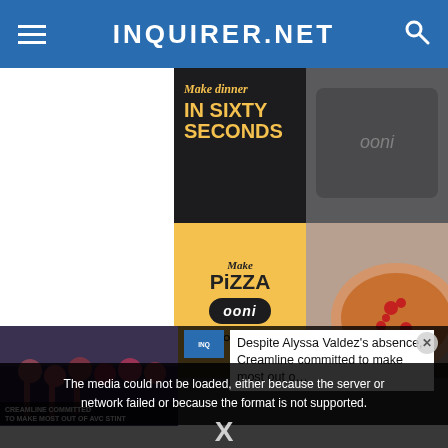INQUIRER.NET
[Figure (photo): Advertisement for Ooni pizza oven. Left side: dark background with yellow text 'Make dinner IN SIXTY SECONDS', yellow background with 'Make PIZZA ooni SHOP NOW'. Right side: photo of a pizza on a pizza peel next to an Ooni pizza oven.]
[Figure (screenshot): Video player error overlay reading: 'The media could not be loaded, either because the server or network failed or because the format is not supported.']
[Figure (photo): Thumbnail image of volleyball players with text overlay 'CREAMLINE COMMITTED TO MAKE MOST OUT OF AVC STINT']
Despite Alyssa Valdez's absence, Creamline committed to make most out o…
X